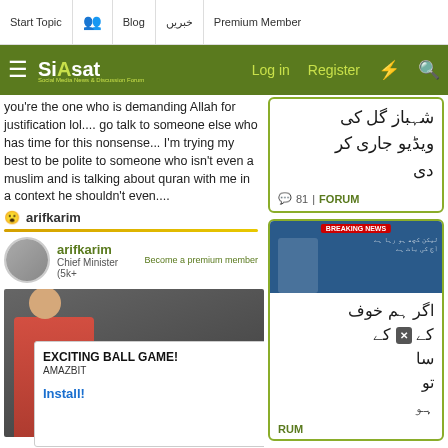Start Topic | Blog | خبریں | Premium Member | Log in | Register
you're the one who is demanding Allah for justification lol.... go talk to someone else who has time for this nonsense... I'm trying my best to be polite to someone who isn't even a muslim and is talking about quran with me in a context he shouldn't even....
😮 arifkarim
arifkarim
Chief Minister (5k+
Become a premium member
[Figure (screenshot): Video thumbnail showing a man in red shirt with a handheld device outdoors]
[Figure (screenshot): Advertisement overlay: EXCITING BALL GAME! AMAZBIT Install!]
شہباز گل کی ویڈیو جاری کر دی
💬81 | FORUM
[Figure (screenshot): Breaking news sidebar image with Pakistani political figure]
اگر ہم خوف کے ... سا ... تو
RUM